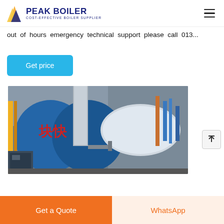PEAK BOILER COST-EFFECTIVE BOILER SUPPLIER
out of hours emergency technical support please call 013...
Get price
[Figure (photo): Industrial boiler equipment in a factory setting showing blue cylindrical boilers with Chinese characters, pipes, valves, and machinery]
Get a Quote
WhatsApp